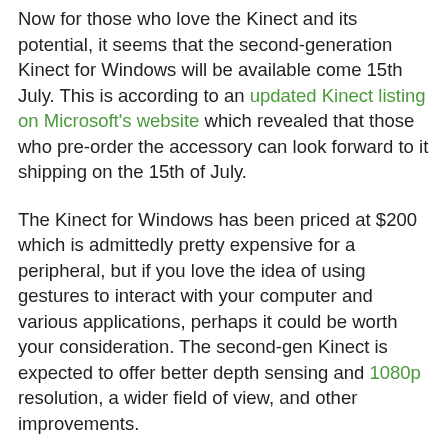Now for those who love the Kinect and its potential, it seems that the second-generation Kinect for Windows will be available come 15th July. This is according to an updated Kinect listing on Microsoft's website which revealed that those who pre-order the accessory can look forward to it shipping on the 15th of July.
The Kinect for Windows has been priced at $200 which is admittedly pretty expensive for a peripheral, but if you love the idea of using gestures to interact with your computer and various applications, perhaps it could be worth your consideration. The second-gen Kinect is expected to offer better depth sensing and 1080p resolution, a wider field of view, and other improvements.
Microsoft has also invited developers to publish more